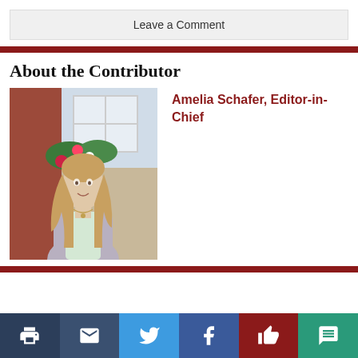Leave a Comment
About the Contributor
[Figure (photo): Photo of Amelia Schafer, a young woman with long blonde hair, standing in front of a brick building with white-framed windows and flower boxes.]
Amelia Schafer, Editor-in-Chief